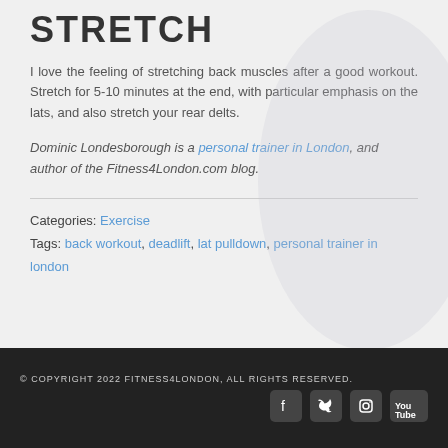STRETCH
I love the feeling of stretching back muscles after a good workout. Stretch for 5-10 minutes at the end, with particular emphasis on the lats, and also stretch your rear delts.
Dominic Londesborough is a personal trainer in London, and author of the Fitness4London.com blog.
Categories: Exercise
Tags: back workout, deadlift, lat pulldown, personal trainer in london
© COPYRIGHT 2022 FITNESS4LONDON, ALL RIGHTS RESERVED.